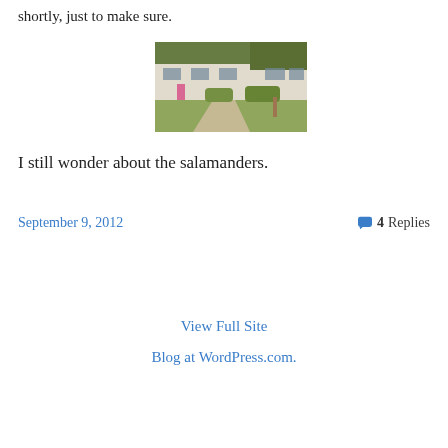shortly, just to make sure.
[Figure (photo): Outdoor photograph of a white single-story building with a pathway and greenery in front, people visible near the entrance.]
I still wonder about the salamanders.
September 9, 2012   4 Replies
View Full Site
Blog at WordPress.com.